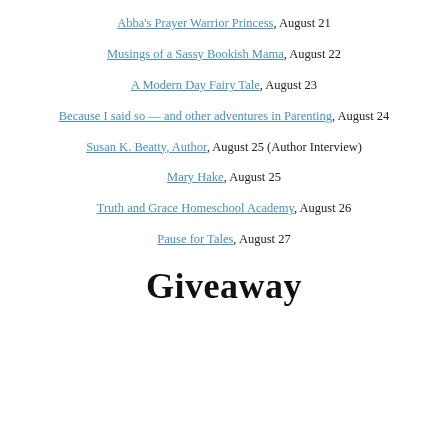Abba's Prayer Warrior Princess, August 21
Musings of a Sassy Bookish Mama, August 22
A Modern Day Fairy Tale, August 23
Because I said so — and other adventures in Parenting, August 24
Susan K. Beatty, Author, August 25 (Author Interview)
Mary Hake, August 25
Truth and Grace Homeschool Academy, August 26
Pause for Tales, August 27
Giveaway